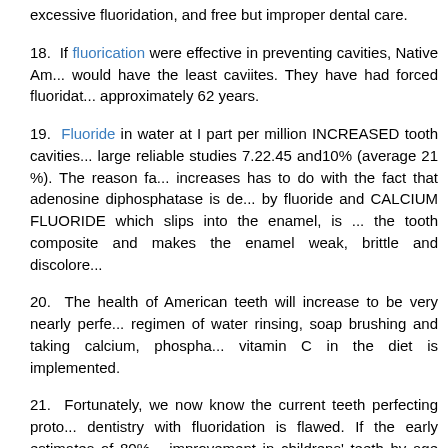excessive fluoridation, and free but improper dental care.
18. If fluorication were effective in preventing cavities, Native Americans would have the least caviites. They have had forced fluoridation approximately 62 years.
19. Fluoride in water at I part per million INCREASED tooth cavities in large reliable studies 7.22.45 and10% (average 21 %). The reason for increases has to do with the fact that adenosine diphosphatase is destroyed by fluoride and CALCIUM FLUORIDE which slips into the enamel, is in the tooth composite and makes the enamel weak, brittle and discolored.
20. The health of American teeth will increase to be very nearly perfect if a regimen of water rinsing, soap brushing and taking calcium, phosphate and vitamin C in the diet is implemented.
21. Fortunately, we now know the current teeth perfecting protocol of dentistry with fluoridation is flawed. If the early estimates of 80% improvement in childrens' teeth by age 13 were true, each American would now have less than one cavity. That is far from true. The teeth in America are in a sorry state, and at the present time are getting worse.
22. Numerous top scientists over the past 60 years have discarded